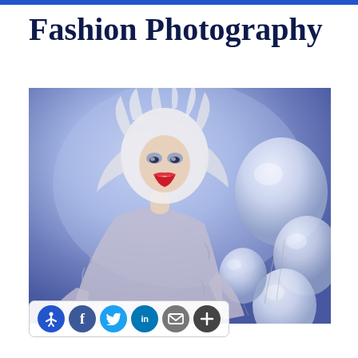Fashion Photography
[Figure (photo): Fashion photography of a woman with wild white hair and dramatic clown-style makeup wearing a fluffy grey fur coat, holding silver/white balloons against a blue-purple background]
Accessibility, Facebook, Twitter, LinkedIn, Email, More social share icons